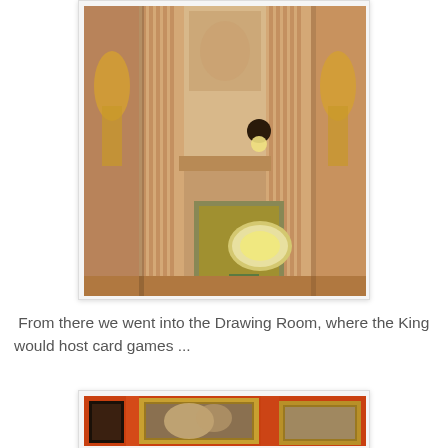[Figure (photo): Interior photo of an ornate room with a large decorative fireplace surround featuring fluted columns, carved marble mantelpiece, and a decorative oval medallion on the hearth. A wall sconce light fixture is visible. Gilded statues and architectural details are visible on the sides.]
From there we went into the Drawing Room, where the King would host card games ...
[Figure (photo): Interior photo of a room with red/orange walls displaying large framed paintings in ornate gold frames. The paintings appear to depict classical or mythological scenes.]